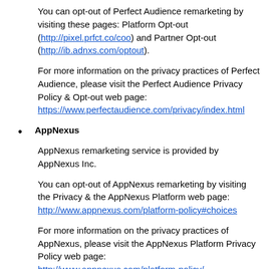You can opt-out of Perfect Audience remarketing by visiting these pages: Platform Opt-out (http://pixel.prfct.co/coo) and Partner Opt-out (http://ib.adnxs.com/optout).
For more information on the privacy practices of Perfect Audience, please visit the Perfect Audience Privacy & Opt-out web page: https://www.perfectaudience.com/privacy/index.html
AppNexus
AppNexus remarketing service is provided by AppNexus Inc.
You can opt-out of AppNexus remarketing by visiting the Privacy & the AppNexus Platform web page: http://www.appnexus.com/platform-policy#choices
For more information on the privacy practices of AppNexus, please visit the AppNexus Platform Privacy Policy web page: http://www.appnexus.com/platform-policy/